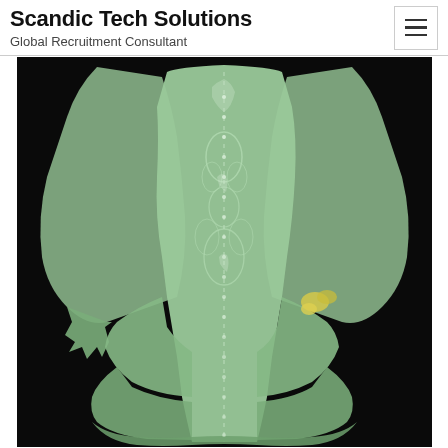Scandic Tech Solutions
Global Recruitment Consultant
[Figure (photo): A green embossed/velvet tiered dress or garment displayed against a black background. The garment has wide draped sleeves, a floral embossed pattern, and layered tiers at the hem. The fabric is a pale mint/sage green color.]